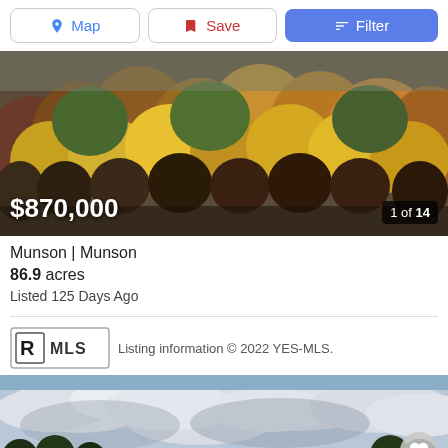[Figure (screenshot): Navigation bar with Map, Save, and Filter buttons]
[Figure (photo): Aerial view of forested hillside with autumn foliage in orange, gold, and brown tones]
$870,000
1 of 14
Munson | Munson
86.9 acres
Listed 125 Days Ago
[Figure (logo): Realtor MLS logo]
Listing information © 2022 YES-MLS.
[Figure (photo): Sky with clouds and tree line at bottom, partial view of second property listing]